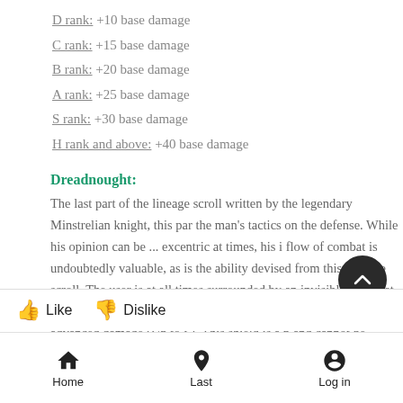D rank: +10 base damage
C rank: +15 base damage
B rank: +20 base damage
A rank: +25 base damage
S rank: +30 base damage
H rank and above: +40 base damage
Dreadnought:
The last part of the lineage scroll written by the legendary Minstrelian knight, this par the man's tactics on the defense. While his opinion can be ... excentric at times, his i flow of combat is undoubtedly valuable, as is the ability devised from this passage scroll. The user is at all times surrounded by an invisible aura that acts as a shield arou which has a durability of 5x user rank advanced damage (Up to S). This shield is a p and cannot be negated or pierced by piercing spells, the durability of the shield resto the beginning of every post. Further, the user also gains a 100% buff to spell durability
Home  Last  Log in